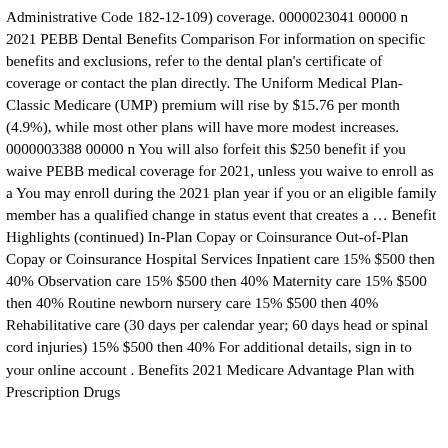Administrative Code 182-12-109) coverage. 0000023041 00000 n 2021 PEBB Dental Benefits Comparison For information on specific benefits and exclusions, refer to the dental plan's certificate of coverage or contact the plan directly. The Uniform Medical Plan-Classic Medicare (UMP) premium will rise by $15.76 per month (4.9%), while most other plans will have more modest increases. 0000003388 00000 n You will also forfeit this $250 benefit if you waive PEBB medical coverage for 2021, unless you waive to enroll as a You may enroll during the 2021 plan year if you or an eligible family member has a qualified change in status event that creates a ... Benefit Highlights (continued) In-Plan Copay or Coinsurance Out-of-Plan Copay or Coinsurance Hospital Services Inpatient care 15% $500 then 40% Observation care 15% $500 then 40% Maternity care 15% $500 then 40% Routine newborn nursery care 15% $500 then 40% Rehabilitative care (30 days per calendar year; 60 days head or spinal cord injuries) 15% $500 then 40% For additional details, sign in to your online account . Benefits 2021 Medicare Advantage Plan with Prescription Drugs